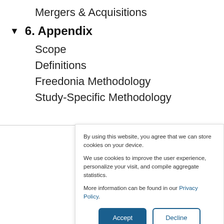Mergers & Acquisitions
▼ 6. Appendix
Scope
Definitions
Freedonia Methodology
Study-Specific Methodology
By using this website, you agree that we can store cookies on your device.

We use cookies to improve the user experience, personalize your visit, and compile aggregate statistics.

More information can be found in our Privacy Policy.